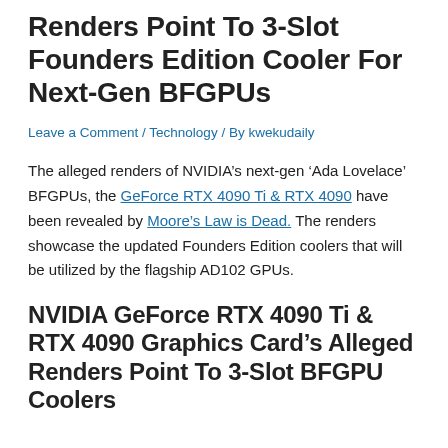Renders Point To 3-Slot Founders Edition Cooler For Next-Gen BFGPUs
Leave a Comment / Technology / By kwekudaily
The alleged renders of NVIDIA’s next-gen ‘Ada Lovelace’ BFGPUs, the GeForce RTX 4090 Ti & RTX 4090 have been revealed by Moore’s Law is Dead. The renders showcase the updated Founders Edition coolers that will be utilized by the flagship AD102 GPUs.
NVIDIA GeForce RTX 4090 Ti & RTX 4090 Graphics Card’s Alleged Renders Point To 3-Slot BFGPU Coolers